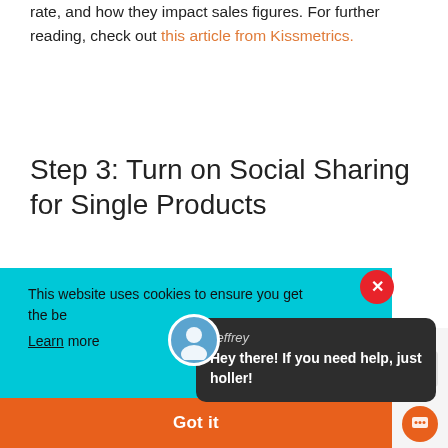rate, and how they impact sales figures. For further reading, check out this article from Kissmetrics.
Step 3: Turn on Social Sharing for Single Products
[Figure (screenshot): Cookie consent banner with cyan background showing 'This website uses cookies to ensure you get the best experience on our website. Learn more' text, an orange 'Got it' button at bottom, a red close X button top right, and a dark chat popup from Jeffrey saying 'Hey there! If you need help, just holler!' with a user avatar icon.]